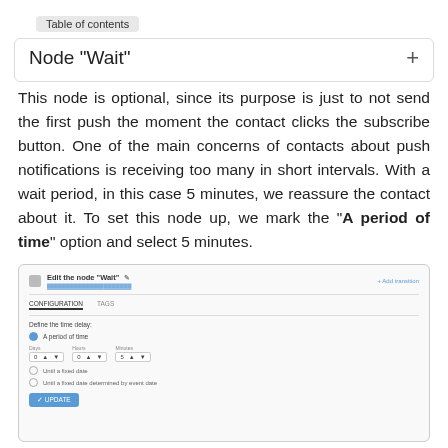Table of contents
Node "Wait"
This node is optional, since its purpose is just to not send the first push the moment the contact clicks the subscribe button. One of the main concerns of contacts about push notifications is receiving too many in short intervals. With a wait period, in this case 5 minutes, we reassure the contact about it. To set this node up, we mark the "A period of time" option and select 5 minutes.
[Figure (screenshot): Screenshot of the 'Edit node Wait' dialog showing a period of time option selected with Days, Hours, Minutes inputs and an Update button.]
Node "Show push notification"